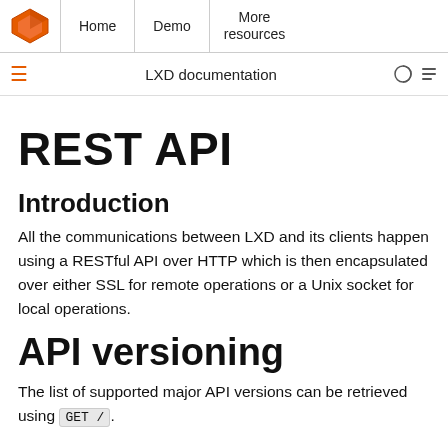Home | Demo | More resources
LXD documentation
REST API
Introduction
All the communications between LXD and its clients happen using a RESTful API over HTTP which is then encapsulated over either SSL for remote operations or a Unix socket for local operations.
API versioning
The list of supported major API versions can be retrieved using GET /.